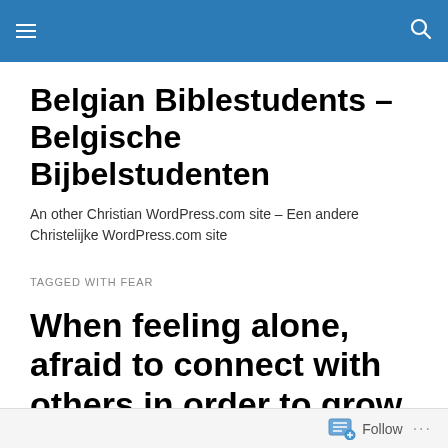Belgian Biblestudents – Belgische Bijbelstudenten (site header bar)
Belgian Biblestudents – Belgische Bijbelstudenten
An other Christian WordPress.com site – Een andere Christelijke WordPress.com site
TAGGED WITH FEAR
When feeling alone, afraid to connect with others in order to grow in faith